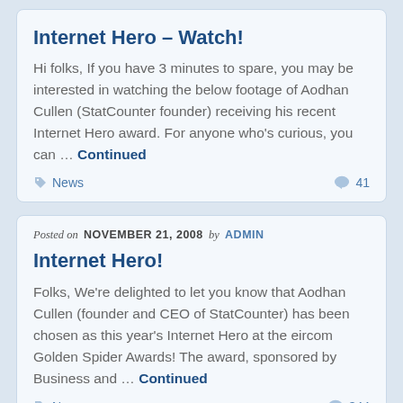Internet Hero – Watch!
Hi folks, If you have 3 minutes to spare, you may be interested in watching the below footage of Aodhan Cullen (StatCounter founder) receiving his recent Internet Hero award. For anyone who's curious, you can … Continued
News  41
Posted on NOVEMBER 21, 2008 by ADMIN
Internet Hero!
Folks, We're delighted to let you know that Aodhan Cullen (founder and CEO of StatCounter) has been chosen as this year's Internet Hero at the eircom Golden Spider Awards! The award, sponsored by Business and … Continued
News  344